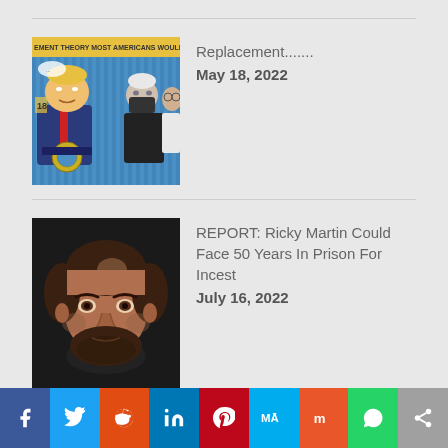[Figure (illustration): Political cartoon showing caricatures of Trump and Biden with text 'EMENT THEORY MOST AMERICANS WOULD AGREE WITH...']
Replacement.......
May 18, 2022
[Figure (photo): Photo of Ricky Martin, bearded man with dark hair, wearing black turtleneck]
REPORT: Ricky Martin Could Face 50 Years In Prison For Incest
July 16, 2022